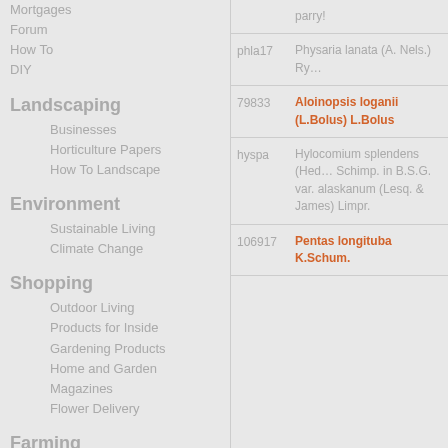Mortgages
Forum
How To
DIY
Landscaping
Businesses
Horticulture Papers
How To Landscape
Environment
Sustainable Living
Climate Change
Shopping
Outdoor Living
Products for Inside
Gardening Products
Home and Garden Magazines
Flower Delivery
Farming
| code | name |
| --- | --- |
|  | parry! |
| phla17 | Physaria lanata (A. Nels.) Ry… |
| 79833 | Aloinopsis loganii (L.Bolus) L.Bolus |
| hyspa | Hylocomium splendens (Hed… Schimp. in B.S.G. var. alaskanum (Lesq. & James) Limpr. |
| 106917 | Pentas longituba K.Schum. |